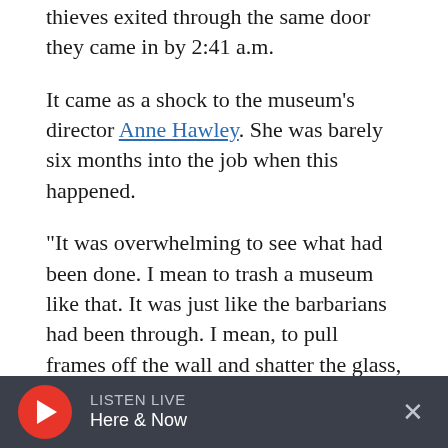thieves exited through the same door they came in by 2:41 a.m.
It came as a shock to the museum's director Anne Hawley. She was barely six months into the job when this happened.
"It was overwhelming to see what had been done. I mean to trash a museum like that. It was just like the barbarians had been through. I mean, to pull frames off the wall and shatter the glass, it was clearly not people that loved art that did that. I mean, cutting paintings out of frames. I mean, it's unspeakable."
LISTEN LIVE Here & Now